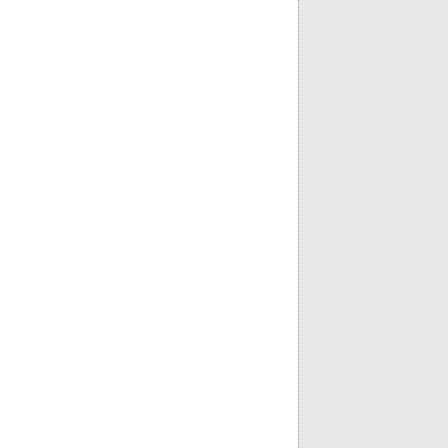| 6,999 | 13,188 | IX... |
| 14,298 | 8,675 | X... |
| 9,121 | 15,907 | X... |
| 13,274 | 15,280 | X... |
| 14,190 | 12,675 | X... |
| 12,489 | 15,830 | X... |
| 13,589 | 12,964 | ... |
| 11,298 | 9,979 | X... |
| 14,734 | 12,688 | X... |
| 15,107 | 12,481 | X... |
| 13,023 | 12,669 | X... |
| 12,720 | 9,655 | X... |
| 14,197 | 10,012 | X... |